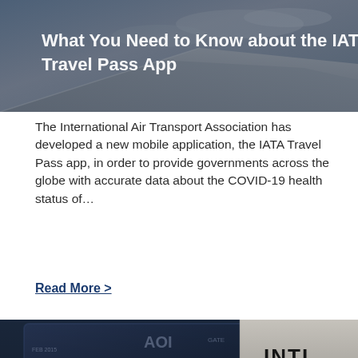[Figure (photo): Airplane wing visible through window against sky, with overlaid white text title about IATA Travel Pass App]
What You Need to Know about the IATA Travel Pass App
The International Air Transport Association has developed a new mobile application, the IATA Travel Pass app, in order to provide governments across the globe with accurate data about the COVID-19 health status of…
Read More >
[Figure (photo): Dark navy blue passport with gold lettering PASSPORT and boarding pass showing INTL and 16A seat, with overlaid white text about Greece and Israel vaccination passport deal]
Greece and Israel Sign Common Vaccination Passport Deal
Greek Prime Minister Kyriakos Mitsotakis has announced...